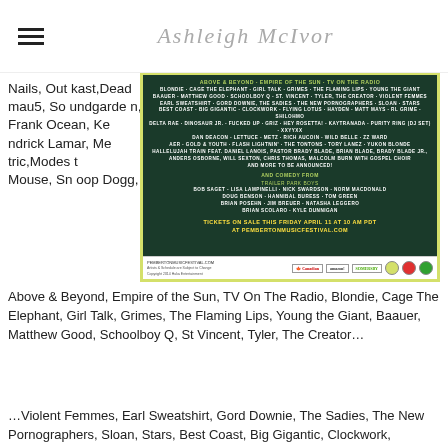Ashleigh McIvor
Nails, Outkast,Deadmau5, Soundgarden, Frank Ocean, Kendrick Lamar, Metric,Modest Mouse, Snoop Dogg,
[Figure (photo): Pemberton Music Festival lineup poster on dark green background with yellow border, listing artists including Above & Beyond, Empire of the Sun, TV On The Radio, Blondie, Cage The Elephant, Girl Talk, Grimes, The Flaming Lips, Young the Giant, Baauer, Matthew Good, Schoolboy Q, St. Vincent, Tyler The Creator, Violent Femmes, and many more. Comedy from Trailer Park Boys and others. Tickets on sale Friday April 11 at 10 AM PDT at pembertonmusicfestival.com]
Above & Beyond, Empire of the Sun, TV On The Radio, Blondie, Cage The Elephant, Girl Talk, Grimes, The Flaming Lips, Young the Giant, Baauer, Matthew Good, Schoolboy Q, St Vincent, Tyler, The Creator…
…Violent Femmes, Earl Sweatshirt, Gord Downie, The Sadies, The New Pornographers, Sloan, Stars, Best Coast, Big Gigantic, Clockwork, Flying…